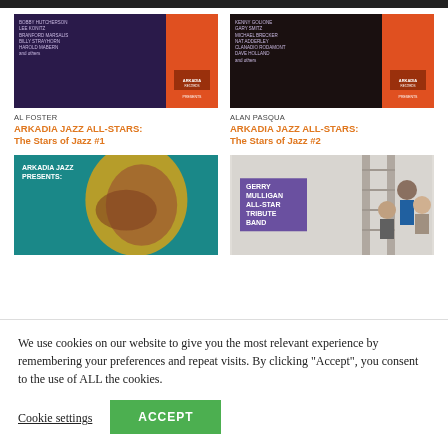[Figure (photo): Album cover for Arkadia Jazz All-Stars The Stars of Jazz #1 by Al Foster — dark purple background with small text listing musicians and orange right panel with Arkadia logo]
[Figure (photo): Album cover for Arkadia Jazz All-Stars The Stars of Jazz #2 by Alan Pasqua — dark background with small text listing musicians and orange right panel with Arkadia logo]
AL FOSTER
ARKADIA JAZZ ALL-STARS: The Stars of Jazz #1
ALAN PASQUA
ARKADIA JAZZ ALL-STARS: The Stars of Jazz #2
[Figure (photo): Album cover with teal background, text reading ARKADIA JAZZ PRESENTS, and a colorful portrait illustration of a musician]
[Figure (photo): Album cover with band photo showing several men, with purple label reading GERRY MULLIGAN ALL-STAR TRIBUTE BAND]
We use cookies on our website to give you the most relevant experience by remembering your preferences and repeat visits. By clicking “Accept”, you consent to the use of ALL the cookies.
Cookie settings
ACCEPT